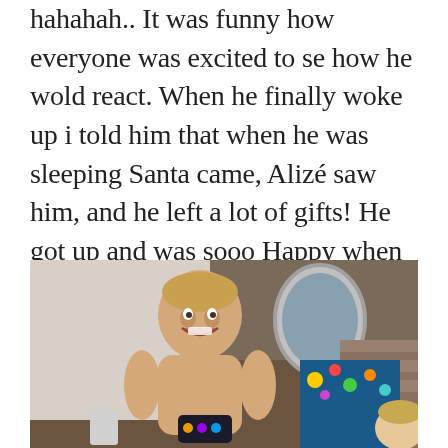hahahah.. It was funny how everyone was excited to se how he wold react. When he finally woke up i told him that when he was sleeping Santa came, Alizé saw him, and he left a lot of gifts! He got up and was sooo Happy when he saw the gifts and it was really nice to see them open the presents and play with them.
[Figure (photo): Photo of a young toddler laughing joyfully, shirtless, playing with toys. Another child is visible in the background wearing a colorful floral outfit. The setting appears to be indoors, possibly a boat or RV interior.]